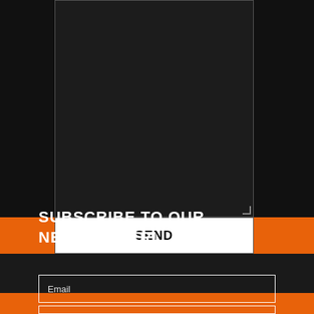[Figure (screenshot): Dark textured background with a textarea input box (dark background, thin border) occupying the upper portion of the page]
SEND
SUBSCRIBE TO OUR NEWSLETTER!
Email